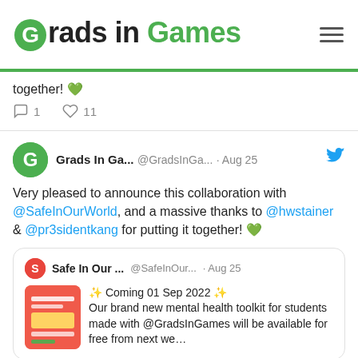Grads in Games
together! 💚
💬 1   ♡ 11
Grads In Ga... @GradsInGa... · Aug 25
Very pleased to announce this collaboration with @SafeInOurWorld, and a massive thanks to @hwstainer & @pr3sidentkang for putting it together! 💚
Safe In Our ... @SafeInOur... · Aug 25
✨ Coming 01 Sep 2022 ✨
Our brand new mental health toolkit for students made with @GradsInGames will be available for free from next we...